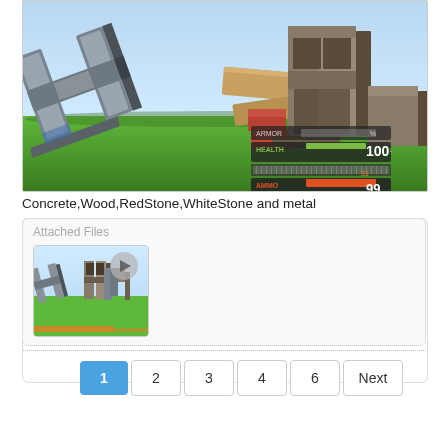[Figure (screenshot): 3D game scene showing large letters 'H', 'A', 'n' made of metal/concrete/stone materials scattered on a green grass field with a light blue sky. HUD elements visible in bottom-right corner showing ARMOR bar, HEALTH 100, ammo bar, and AMMO 99.]
Concrete,Wood,RedStone,WhiteStone and metal
Attached Files
[Figure (screenshot): Thumbnail of the same 3D game scene showing letters H, A, n on green grass with light blue sky. Small play/view button overlay visible.]
1  2  3  4  6  Next